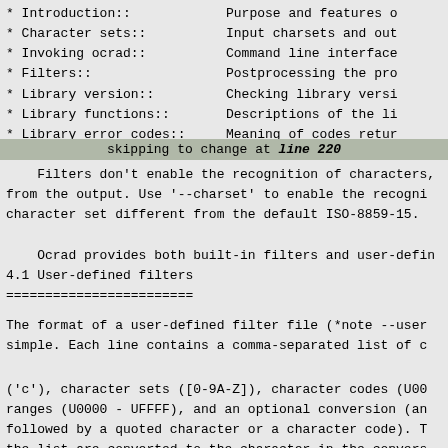* Introduction::    Purpose and features o
* Character sets::  Input charsets and out
* Invoking ocrad::  Command line interface
* Filters::         Postprocessing the pro
* Library version:: Checking library versi
* Library functions:: Descriptions of the li
* Library error codes:: Meaning of codes retur
skipping to change at line 220
Filters don't enable the recognition of characters,
from the output. Use '--charset' to enable the recogni
character set different from the default ISO-8859-15.
Ocrad provides both built-in filters and user-defin
4.1 User-defined filters
========================
The format of a user-defined filter file (*note --user
simple. Each line contains a comma-separated list of c
('c'), character sets ([0-9A-Z]), character codes (U00
ranges (U0000 - UFFFF), and an optional conversion (an
followed by a quoted character or a character code). T
the list are converted to the character in the convers
conversion is specified, the character is left unmodif